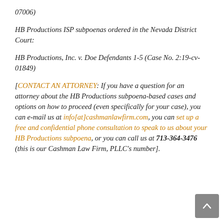07006)
HB Productions ISP subpoenas ordered in the Nevada District Court:
HB Productions, Inc. v. Doe Defendants 1-5 (Case No. 2:19-cv-01849)
[CONTACT AN ATTORNEY: If you have a question for an attorney about the HB Productions subpoena-based cases and options on how to proceed (even specifically for your case), you can e-mail us at info[at]cashmanlawfirm.com, you can set up a free and confidential phone consultation to speak to us about your HB Productions subpoena, or you can call us at 713-364-3476 (this is our Cashman Law Firm, PLLC's number].